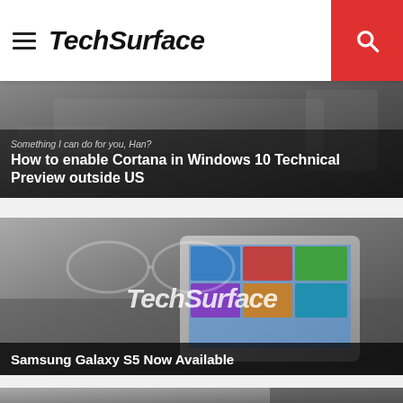TechSurface
How to enable Cortana in Windows 10 Technical Preview outside US
[Figure (screenshot): TechSurface branded tablet/device image with TechSurface watermark logo in center]
Samsung Galaxy S5 Now Available
[Figure (photo): Partial view of another article card below]